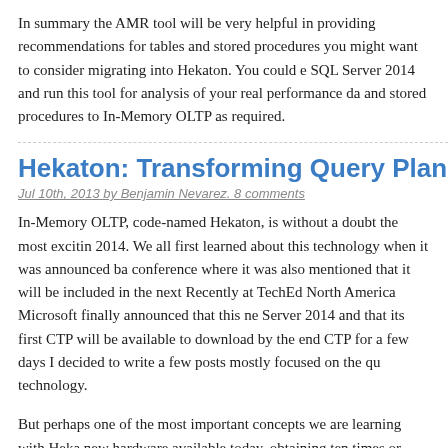In summary the AMR tool will be very helpful in providing recommendations for tables and stored procedures you might want to consider migrating into Hekaton. You could even upgrade to SQL Server 2014 and run this tool for analysis of your real performance data and then migrate tables and stored procedures to In-Memory OLTP as required.
Hekaton: Transforming Query Plans into C C...
Jul 10th, 2013 by Benjamin Nevarez. 8 comments
In-Memory OLTP, code-named Hekaton, is without a doubt the most exciting new feature in SQL Server 2014. We all first learned about this technology when it was announced back at the PASS conference where it was also mentioned that it will be included in the next major release of SQL Server. Recently at TechEd North America Microsoft finally announced that this new feature will ship in SQL Server 2014 and that its first CTP will be available to download by the end of June. After playing with the CTP for a few days I decided to write a few posts mostly focused on the query processing side of this technology.
But perhaps one of the most important concepts we are learning with Hekaton is that by using the new hardware available today, obtaining ten times or more better performance is possible and will dramatically change the way data management systems are designed. For years, data management systems were originally designed under the assumption that all data could not fit in memory and should have to reside on disk pages. This assumption is no longer true and...